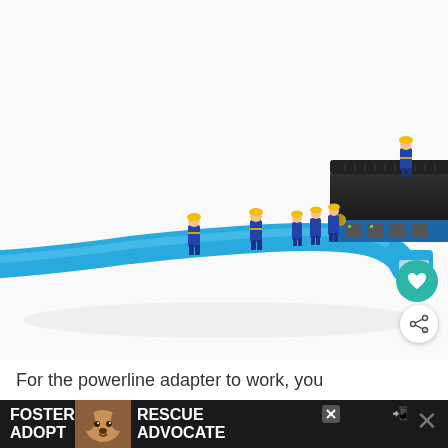[Figure (photo): Miniature figurines of workers in blue overalls and yellow hard hats gathered around a large ethernet cable being plugged into a black network router/switch. The blue cable is prominent in the foreground. Set on white background.]
For the powerline adapter to work, you
[Figure (photo): Advertisement banner with dark background showing 'FOSTER ADOPT' and 'RESCUE ADVOCATE' text with a dog photo in the center. Close buttons visible on the right side.]